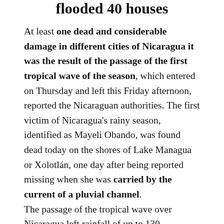flooded 40 houses
At least one dead and considerable damage in different cities of Nicaragua it was the result of the passage of the first tropical wave of the season, which entered on Thursday and left this Friday afternoon, reported the Nicaraguan authorities. The first victim of Nicaragua's rainy season, identified as Mayeli Obando, was found dead today on the shores of Lake Managua or Xolotlán, one day after being reported missing when she was carried by the current of a pluvial channel.
The passage of the tropical wave over Nicaragua left rainfall of up to 130 millimeters in Managua, and 80 millimeters in the